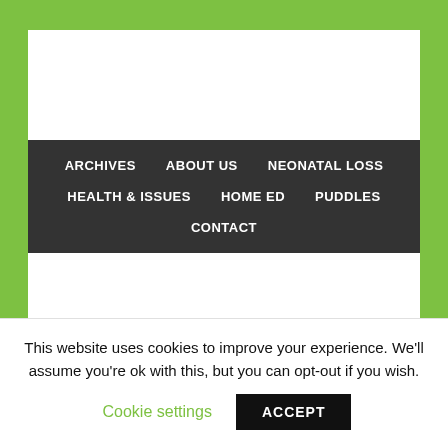ARCHIVES | ABOUT US | NEONATAL LOSS | HEALTH & ISSUES | HOME ED | PUDDLES | CONTACT
You are here: Home / Family Life / Freddie / Remembrance
This website uses cookies to improve your experience. We'll assume you're ok with this, but you can opt-out if you wish. Cookie settings ACCEPT